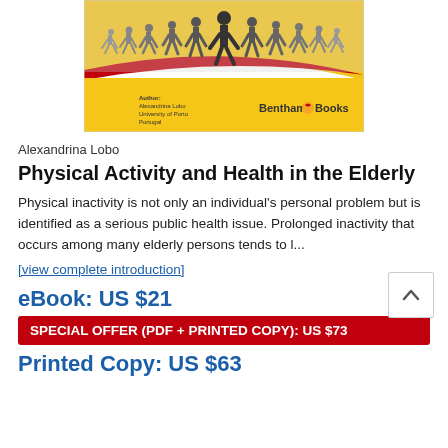[Figure (illustration): Book cover for 'Physical Activity and Health in the Elderly' by Alexandrina Lobo, published by Bentham Books. Yellow and white background with red swoosh, silhouettes of runners at the top.]
Alexandrina Lobo
Physical Activity and Health in the Elderly
Physical inactivity is not only an individual's personal problem but is identified as a serious public health issue. Prolonged inactivity that occurs among many elderly persons tends to l...
[view complete introduction]
eBook: US $21
SPECIAL OFFER (PDF + PRINTED COPY): US $73
Printed Copy: US $63